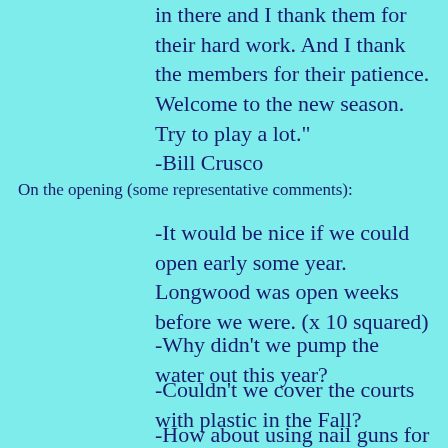in there and I thank them for their hard work. And I thank the members for their patience. Welcome to the new season. Try to play a lot."
-Bill Crusco
On the opening (some representative comments):
-It would be nice if we could open early some year. Longwood was open weeks before we were. (x 10 squared)
-Why didn't we pump the water out this year?
-Couldn't we cover the courts with plastic in the Fall?
-How about using nail guns for